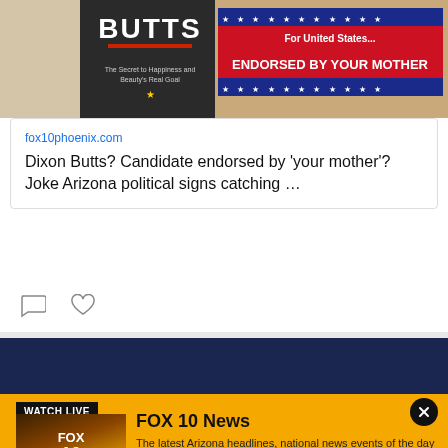[Figure (screenshot): A composite photo showing a book titled BUTTS and a political sign reading 'For United States... ENDORSED BY YOUR MOTHER' with red white and blue stars design]
fox10phoenix.com
Dixon Butts? Candidate endorsed by 'your mother'? Joke Arizona political signs catching …
News
Arizona Headlines
Weather
Forecast Video
WATCH LIVE
[Figure (logo): FOX 10 PHOENIX logo on a sunset background with saguaro cactus silhouette]
FOX 10 News
The latest Arizona headlines, national news events of the day + sports and weather updates.